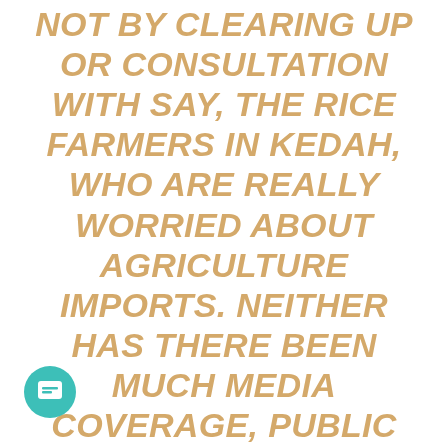NOT BY CLEARING UP OR CONSULTATION WITH SAY, THE RICE FARMERS IN KEDAH, WHO ARE REALLY WORRIED ABOUT AGRICULTURE IMPORTS. NEITHER HAS THERE BEEN MUCH MEDIA COVERAGE, PUBLIC CONSULTATION OR PARLIAMENTARY SCRUTINY OF THE IMPACT THE FTA IS LIKELY TO HAVE ON MALAYSIA.
WHEN AN AMERICAN SPEAKER FROM A US THINK-TANK WAS ASKED BY A MALAYSIAN ACTIVIST ABOUT THE LACK OF TRANSPARENCY IN THE FTA NEGOTIATIONS, HE RETORTED. "YOU